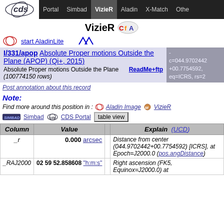Portal | Simbad | VizieR | Aladin | X-Match | Other
VizieR CfA
start AladinLite
I/331/apop  Absolute Proper motions Outside the Plane (APOP) (Qi+, 2015)
Absolute Proper motions Outside the Plane (100774150 rows)
ReadMe+ftp
- c=044.9702442+00.7754592, eq=ICRS, rs=2
Post annotation about this record
Note:
Find more around this position in : Aladin Image  VizieR
Simbad  CDS Portal  table view
| Column | Value |  | Explain (UCD) |
| --- | --- | --- | --- |
| _r | 0.000 arcsec |  | Distance from center (044.9702442+00.7754592) [ICRS], at Epoch=J2000.0 (pos.angDistance) |
| _RAJ2000 | 02 59 52.858608 "h:m:s" |  | Right ascension (FK5, Equinox=J2000.0) at |